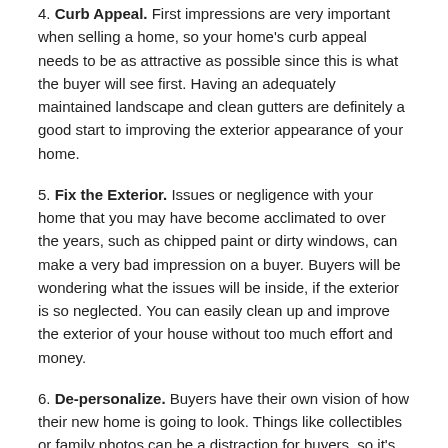4. Curb Appeal. First impressions are very important when selling a home, so your home's curb appeal needs to be as attractive as possible since this is what the buyer will see first. Having an adequately maintained landscape and clean gutters are definitely a good start to improving the exterior appearance of your home.
5. Fix the Exterior. Issues or negligence with your home that you may have become acclimated to over the years, such as chipped paint or dirty windows, can make a very bad impression on a buyer. Buyers will be wondering what the issues will be inside, if the exterior is so neglected. You can easily clean up and improve the exterior of your house without too much effort and money.
6. De-personalize. Buyers have their own vision of how their new home is going to look. Things like collectibles or family photos can be a distraction for buyers, so it's best to put them away and make the home as neutral as possible.
7. Update Your Kitchen. The kitchen is one of the most important parts of your home, and it should make an especially good impression on the buyer. Unfortunately, fully upgrading a kitchen is typically very costly, but simple and cheap updates like fresh paint, and new